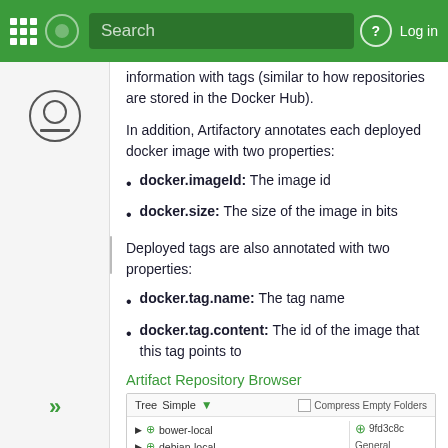Mode Search | Log in
information with tags (similar to how repositories are stored in the Docker Hub).
In addition, Artifactory annotates each deployed docker image with two properties:
docker.imageId: The image id
docker.size: The size of the image in bits
Deployed tags are also annotated with two properties:
docker.tag.name: The tag name
docker.tag.content: The id of the image that this tag points to
Artifact Repository Browser
[Figure (screenshot): Screenshot of Artifact Repository Browser showing Tree/Simple view with filter icon, Compress Empty Folders checkbox, and a tree list with bower-local, debian-local, docker-local, docker1 entries. A right panel shows 9fd3c8c with General and Property sections.]